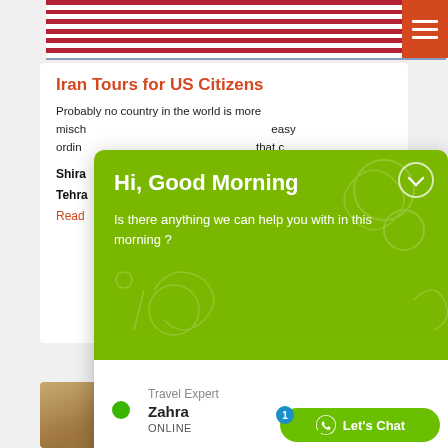[Figure (photo): American flag close-up with red and white stripes and blue sky]
Iran Tours for US Citizens
Probably no country in the world is more misch... easy ... ordina... that c...
Shira...
Tehra...
Read...
[Figure (screenshot): Live chat popup with green background showing 'Hi, Good Morning' greeting and Travel Expert Zahra ONLINE]
[Figure (photo): Bottom section showing architectural/historical site image]
Let's Chat